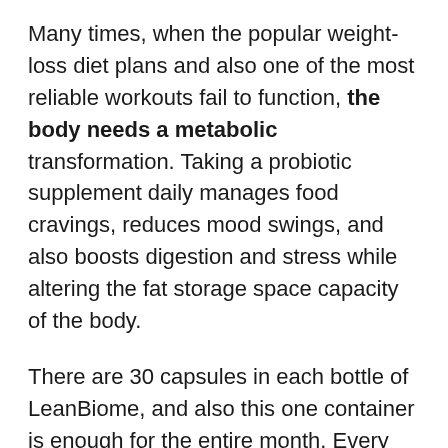Many times, when the popular weight-loss diet plans and also one of the most reliable workouts fail to function, the body needs a metabolic transformation. Taking a probiotic supplement daily manages food cravings, reduces mood swings, and also boosts digestion and stress while altering the fat storage space capacity of the body.
There are 30 capsules in each bottle of LeanBiome, and also this one container is enough for the entire month. Every capsule is made with certain dietary active ingredients, playing a handy duty in weight-loss. It may work without diet and exercise, but the faster outcomes are observed when the supplement is utilized together with a healthy balanced diet, because all consuming routine